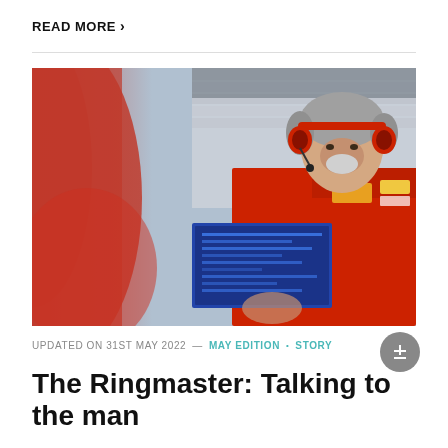READ MORE >
[Figure (photo): Man wearing red Ducati team uniform and red headset/headphones, looking down at a screen or board, at a motorsport racing event with crowd in background. The foreground has a blurred red element.]
UPDATED ON 31ST MAY 2022 — MAY EDITION • STORY
The Ringmaster: Talking to the man